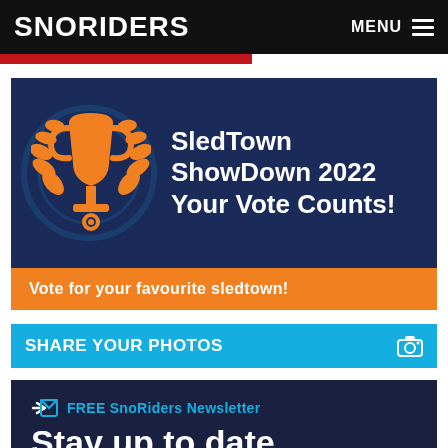SNORIDERS  MENU
[Figure (infographic): SledTown ShowDown 2022 promotional banner with orange trophy icon on dark navy background. Text reads 'SledTown ShowDown 2022 Your Vote Counts!']
Vote for your favourite sledtown!
SHARE YOUR PHOTOS
[Figure (infographic): FREE SnoRiders Newsletter signup banner on dark navy background. Headline reads 'Stay up to date'. Button reads 'Follow SnoRiders today']